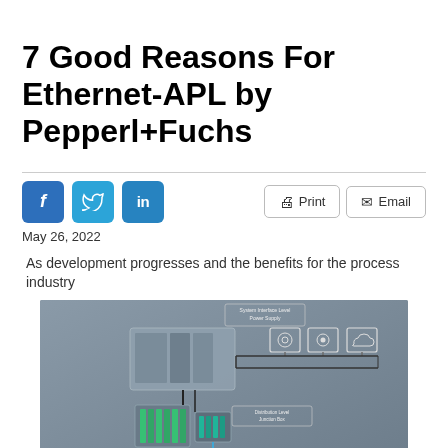7 Good Reasons For Ethernet-APL by Pepperl+Fuchs
May 26, 2022
As development progresses and the benefits for the process industry
[Figure (engineering-diagram): Ethernet-APL network architecture diagram showing System Interface Level Power Supply at top, Distribution Level Junction Box in middle, and Field Device Level Process Interface at bottom, with connected hardware components including servers, monitors, cloud icon, junction boxes, and field devices connected by cables.]